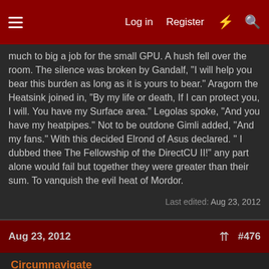Log in  Register  #476
much to big a job for the small GPU. A hush fell over the room. The silence was broken by Gandalf, "I will help you bear this burden as long as it is yours to bear." Aragorn the Heatsink joined in, "By my life or death, If I can protect you, I will. You have my Surface area." Legolas spoke, "And you have my heatpipes." Not to be outdone Gimli added, "And my fans." With this decided Elrond of Asus declared. " I dubbed thee The Fellowship of the DirectCU II!" any part alone would fail but together they were greater than their sum. To vanquish the evil heat of Mordor.
Last edited: Aug 23, 2012
Aug 23, 2012  #476
Circumnavigate
Limp Gawd
I want this video card so I can upgrade from my Asus 9600 GT DX 9 to the wonderful world of DX 11. I also desire its